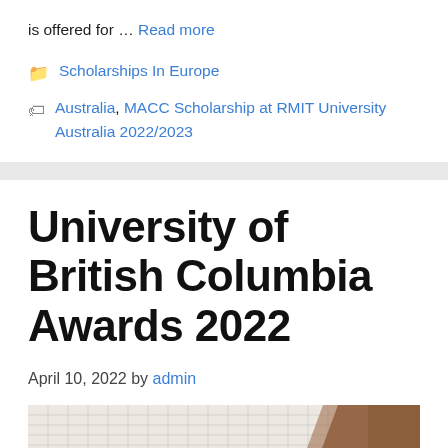is offered for … Read more
Scholarships In Europe
Australia, MACC Scholarship at RMIT University Australia 2022/2023
University of British Columbia Awards 2022
April 10, 2022 by admin
[Figure (photo): Partial thumbnail image showing a grid pattern and brown/tan architectural element at bottom of page]